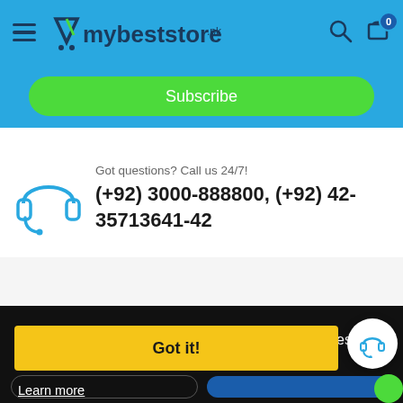[Figure (screenshot): mybeststore.pk website navigation bar with hamburger menu, logo, search and cart icons on blue background]
Subscribe
Got questions? Call us 24/7!
(+92) 3000-888800, (+92) 42-35713641-42
Cont
Offic
PK
This website uses cookies to ensure you get the best experience on our website.
Learn more
Got it!